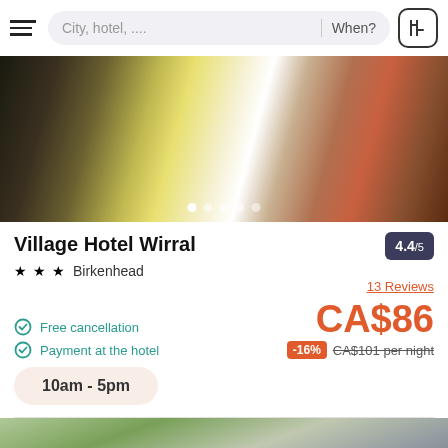City, hotel, ...  When?
[Figure (photo): Hotel room interior showing colorful striped carpet and furniture]
Village Hotel Wirral
4.4/5
★ ★ ★  Birkenhead
13 Reviews
Free cancellation
Payment at the hotel
CA$86
-16%  CA$101 per night
10am - 5pm
[Figure (photo): Exterior of a hotel building with trees in foreground]